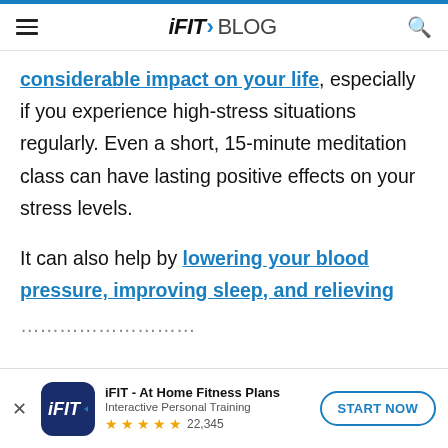iFIT > BLOG
considerable impact on your life, especially if you experience high-stress situations regularly. Even a short, 15-minute meditation class can have lasting positive effects on your stress levels.

It can also help by lowering your blood pressure, improving sleep, and relieving
[Figure (screenshot): iFIT app download banner with icon, app name 'iFIT - At Home Fitness Plans', subtitle 'Interactive Personal Training', 5-star rating with 22,345 reviews, and a 'START NOW' button]